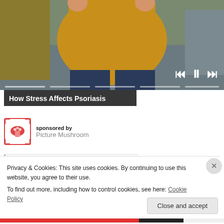[Figure (screenshot): Video player showing a person in a yellow sweater sitting on a couch, with media controls (previous, pause, next) and progress bar segments. Title overlay reads 'How Stress Affects Psoriasis'.]
How Stress Affects Psoriasis
sponsored by
Picture Mushroom
Privacy & Cookies: This site uses cookies. By continuing to use this website, you agree to their use.
To find out more, including how to control cookies, see here: Cookie Policy
Close and accept